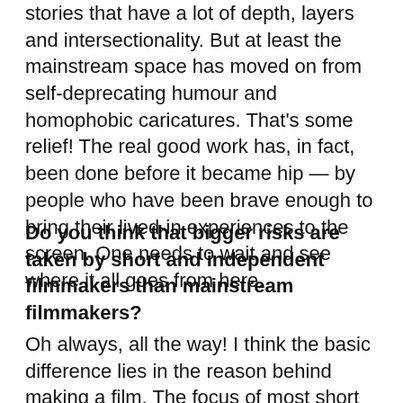stories that have a lot of depth, layers and intersectionality. But at least the mainstream space has moved on from self-deprecating humour and homophobic caricatures. That's some relief! The real good work has, in fact, been done before it became hip — by people who have been brave enough to bring their lived-in experiences to the screen. One needs to wait and see where it all goes from here.
Do you think that bigger risks are taken by short and independent filmmakers than mainstream filmmakers?
Oh always, all the way! I think the basic difference lies in the reason behind making a film. The focus of most short and